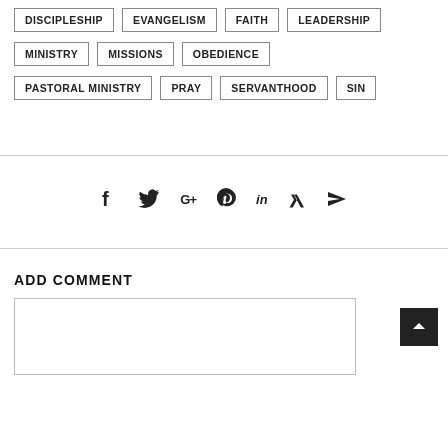DISCIPLESHIP
EVANGELISM
FAITH
LEADERSHIP
MINISTRY
MISSIONS
OBEDIENCE
PASTORAL MINISTRY
PRAY
SERVANTHOOD
SIN
[Figure (infographic): Social sharing icons: Facebook, Twitter, Google+, Pinterest, LinkedIn, Xing, Send/Email]
ADD COMMENT
[Figure (other): Comment text input box]